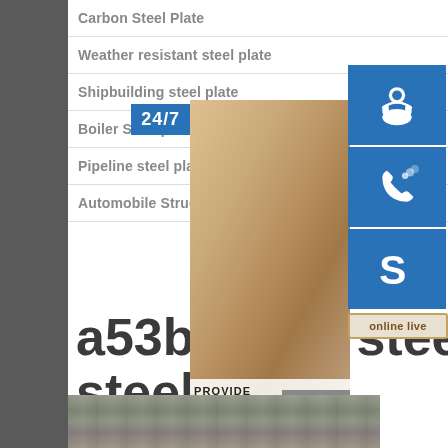Carbon Steel Plate
Weather resistant steel plate
Shipbuilding steel plate
Boiler Steel plate
Pipeline steel plate
Automobile Structure Steel Plate
a53b black steel pipes steels
[Figure (photo): Customer service representative with headset; 24/7 support badge; Skype, phone, and support icons on blue background with 'online live' button and 'PROVIDE Empowering Customers' text]
[Figure (photo): Steel plates/pipes stacked in a warehouse or industrial yard]